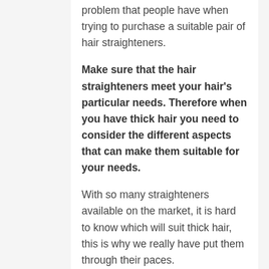problem that people have when trying to purchase a suitable pair of hair straighteners.
Make sure that the hair straighteners meet your hair's particular needs. Therefore when you have thick hair you need to consider the different aspects that can make them suitable for your needs.
With so many straighteners available on the market, it is hard to know which will suit thick hair, this is why we really have put them through their paces.
With 40 hours of rigorous analysis, comparing 30 models to make sure they lived up to expectations. We are sure we